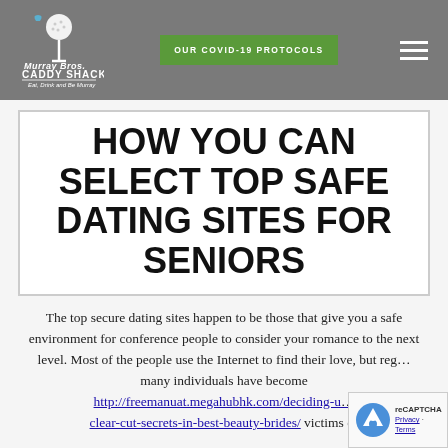Murray Bros Caddy Shack — OUR COVID-19 PROTOCOLS
HOW YOU CAN SELECT TOP SAFE DATING SITES FOR SENIORS
The top secure dating sites happen to be those that give you a safe environment for conference people to consider your romance to the next level. Most of the people use the Internet to find their love, but reg... many individuals have become http://freemanuat.megahubhk.com/deciding-u... clear-cut-secrets-in-best-beauty-brides/ victims of